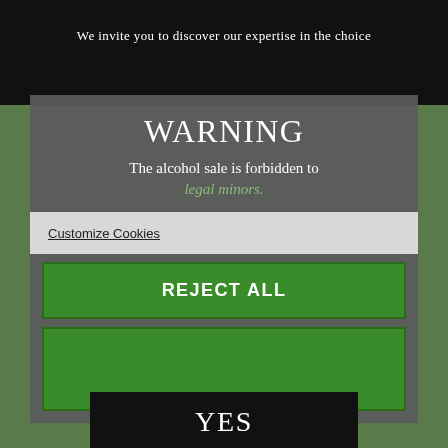We invite you to discover our expertise in the choice
WARNING
The alcohol sale is forbidden to legal minors.
Customize Cookies
REJECT ALL
the age of majority and that you are authorized by the laws of your country to purchase products containing alcohol?
YES